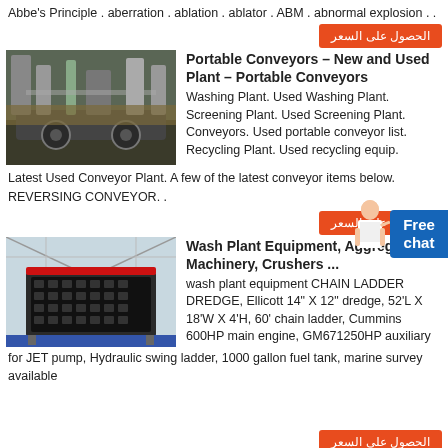Abbe's Principle . aberration . ablation . ablator . ABM . abnormal explosion . .
[Figure (other): Orange Arabic button: الحصول على السعر (Get the price)]
[Figure (photo): Photo of industrial conveyor plant equipment at a construction site]
Portable Conveyors – New and Used Plant – Portable Conveyors
Washing Plant. Used Washing Plant. Screening Plant. Used Screening Plant. Conveyors. Used portable conveyor list. Recycling Plant. Used recycling equip.
[Figure (other): Person illustration with Free chat button]
Latest Used Conveyor Plant. A few of the latest conveyor items below. REVERSING CONVEYOR. .
[Figure (other): Orange Arabic button: الحصول على السعر (Get the price)]
[Figure (photo): Photo of large industrial crushing/screening machinery in a warehouse]
Wash Plant Equipment, Aggregate Machinery, Crushers ...
wash plant equipment CHAIN LADDER DREDGE, Ellicott 14" X 12" dredge, 52'L X 18'W X 4'H, 60' chain ladder, Cummins 600HP main engine, GM671250HP auxiliary for JET pump, Hydraulic swing ladder, 1000 gallon fuel tank, marine survey available
[Figure (other): Partial orange Arabic button at bottom: الحصول على السعر]